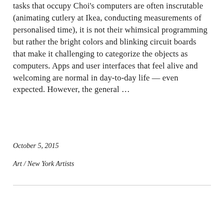tasks that occupy Choi's computers are often inscrutable (animating cutlery at Ikea, conducting measurements of personalised time), it is not their whimsical programming but rather the bright colors and blinking circuit boards that make it challenging to categorize the objects as computers. Apps and user interfaces that feel alive and welcoming are normal in day-to-day life — even expected. However, the general ...
October 5, 2015
Art / New York Artists